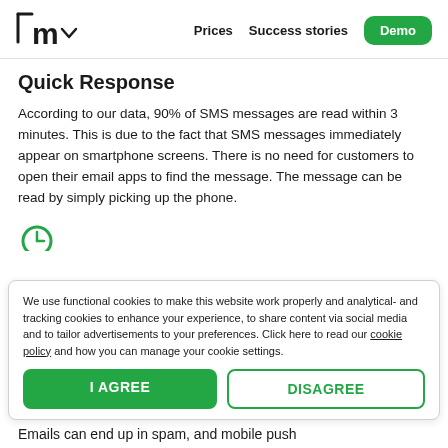m  Prices  Success stories  Demo
Quick Response
According to our data, 90% of SMS messages are read within 3 minutes. This is due to the fact that SMS messages immediately appear on smartphone screens. There is no need for customers to open their email apps to find the message. The message can be read by simply picking up the phone.
We use functional cookies to make this website work properly and analytical- and tracking cookies to enhance your experience, to share content via social media and to tailor advertisements to your preferences. Click here to read our cookie policy and how you can manage your cookie settings.
Emails can end up in spam, and mobile push